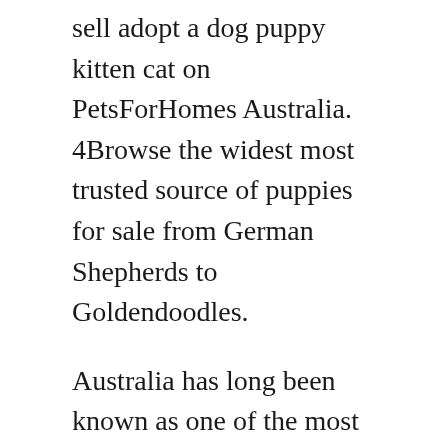sell adopt a dog puppy kitten cat on PetsForHomes Australia. 4Browse the widest most trusted source of puppies for sale from German Shepherds to Goldendoodles.
Australia has long been known as one of the most dog-loving countries in the world which is why it is no surprise that Brisbane is home to a surprisingly huge number of canines. Both parents live at our premises and are very much loved and spoiled. A sign above a shop read-Puppies for Sale.
25Toy Fox Terrier Puppies for sale I you are looking for a well-raised blood-bred dog of the